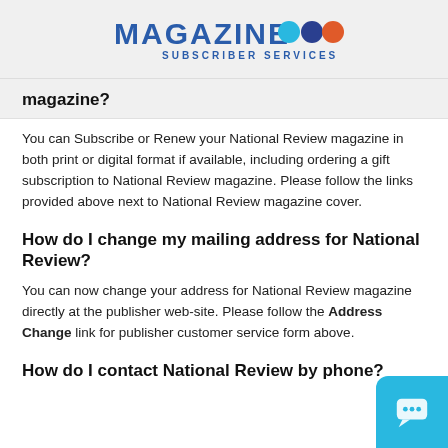[Figure (logo): Magazine Subscriber Services logo with colored dots (teal, dark blue, orange)]
magazine?
You can Subscribe or Renew your National Review magazine in both print or digital format if available, including ordering a gift subscription to National Review magazine. Please follow the links provided above next to National Review magazine cover.
How do I change my mailing address for National Review?
You can now change your address for National Review magazine directly at the publisher web-site. Please follow the Address Change link for publisher customer service form above.
How do I contact National Review by phone?
[Figure (illustration): Chat support widget button in teal/cyan color at bottom right corner]